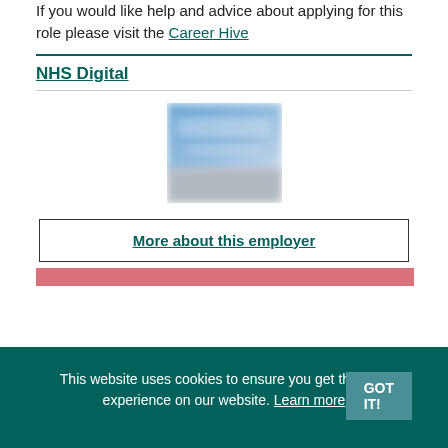If you would like help and advice about applying for this role please visit the Career Hive
NHS Digital
[Figure (logo): Blurred NHS Digital logo image]
More about this employer
This website uses cookies to ensure you get the best experience on our website. Learn more
GOT IT!